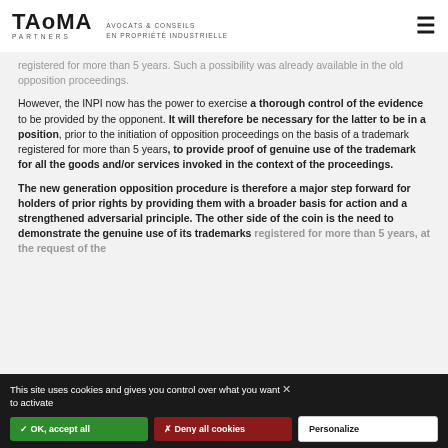TAoMA PARTNERS | AVOCATS & CONSEILS EN PROPRIÉTÉ INDUSTRIELLE
registered for more than 5 years. Such a possibility was already available in the old opposition proceedings.
However, the INPI now has the power to exercise a thorough control of the evidence to be provided by the opponent. It will therefore be necessary for the latter to be in a position, prior to the initiation of opposition proceedings on the basis of a trademark registered for more than 5 years, to provide proof of genuine use of the trademark for all the goods and/or services invoked in the context of the proceedings.
The new generation opposition procedure is therefore a major step forward for holders of prior rights by providing them with a broader basis for action and a strengthened adversarial principle. The other side of the coin is the need to demonstrate the genuine use of its trademarks registered for more than 5 years, at the request of the
This site uses cookies and gives you control over what you want to activate
✓ OK, accept all
✗ Deny all cookies
Personalize